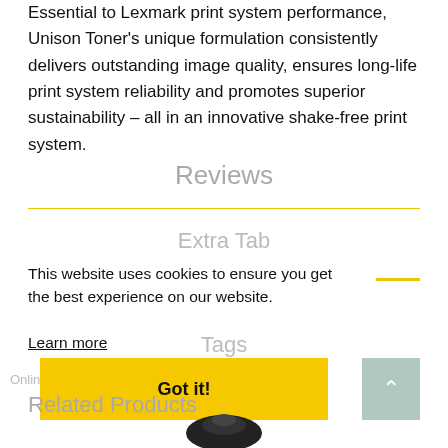Essential to Lexmark print system performance, Unison Toner's unique formulation consistently delivers outstanding image quality, ensures long-life print system reliability and promotes superior sustainability – all in an innovative shake-free print system.
Reviews
Extra Tab
This website uses cookies to ensure you get the best experience on our website.
Learn more
Tags
Got it!
Related Products